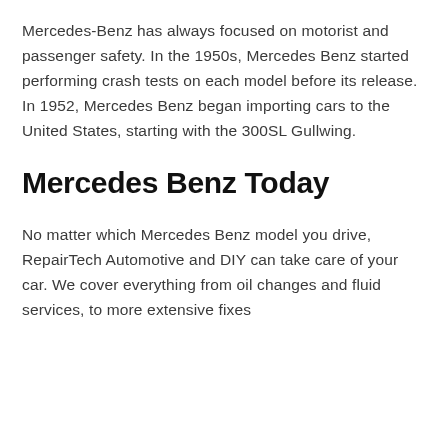Mercedes-Benz has always focused on motorist and passenger safety. In the 1950s, Mercedes Benz started performing crash tests on each model before its release. In 1952, Mercedes Benz began importing cars to the United States, starting with the 300SL Gullwing.
Mercedes Benz Today
No matter which Mercedes Benz model you drive, RepairTech Automotive and DIY can take care of your car. We cover everything from oil changes and fluid services, to more extensive fixes